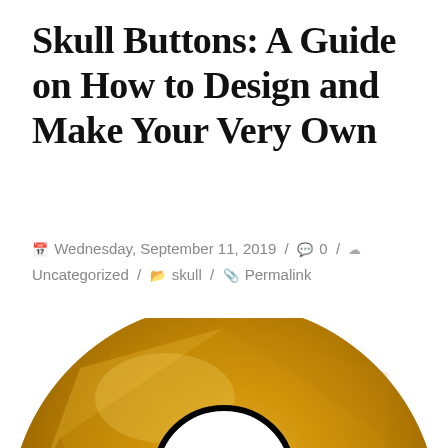Skull Buttons: A Guide on How to Design and Make Your Very Own
Wednesday, September 11, 2019 / 0 / Uncategorized / skull / Permalink
[Figure (illustration): A golden/amber colored circular button with a cartoon skull design in the center. The skull is white with black outline, has two black circular eyes, and a simple jaw/teeth. The button has a shiny, faceted appearance with lighter and darker golden tones.]